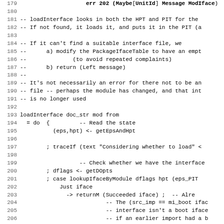[Figure (other): Source code listing in Haskell, lines 179-211, showing loadInterface function with comments and do-notation code]